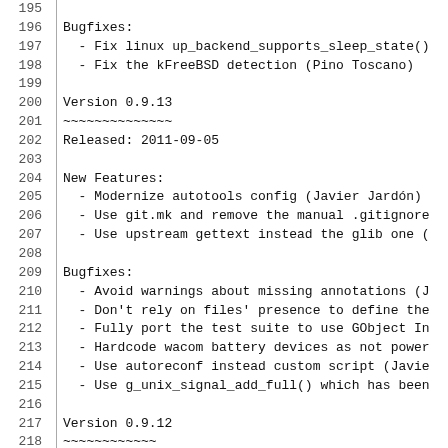195
196 Bugfixes:
197   - Fix linux up_backend_supports_sleep_state()
198   - Fix the kFreeBSD detection (Pino Toscano)
199
200 Version 0.9.13
201 ~~~~~~~~~~~~~~
202 Released: 2011-09-05
203
204 New Features:
205   - Modernize autotools config (Javier Jardón)
206   - Use git.mk and remove the manual .gitignore
207   - Use upstream gettext instead the glib one (
208
209 Bugfixes:
210   - Avoid warnings about missing annotations (J
211   - Don't rely on files' presence to define the
212   - Fully port the test suite to use GObject In
213   - Hardcode wacom battery devices as not power
214   - Use autoreconf instead custom script (Javie
215   - Use g_unix_signal_add_full() which has been
216
217 Version 0.9.12
218 ~~~~~~~~~~~~
219 Released: 2011-07-04
220
221 Bugfixes:
222   - Add AC_PROG_LIBTOOL as advised by autotools
223   - Add openbsd missing includes for close and
224   - Fix how we estimate the device rate for bat
225